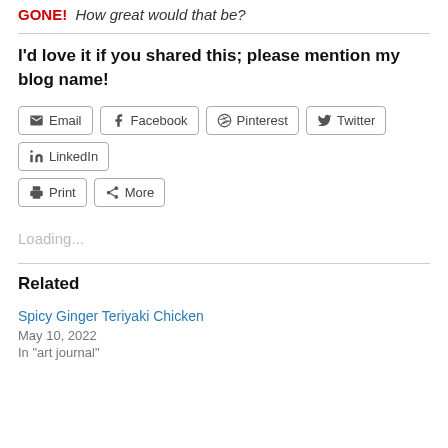GONE!  How great would that be?
I'd love it if you shared this; please mention my blog name!
[Figure (other): Social share buttons: Email, Facebook, Pinterest, Twitter, LinkedIn, Print, More]
Loading...
Related
Spicy Ginger Teriyaki Chicken
May 10, 2022
In "art journal"